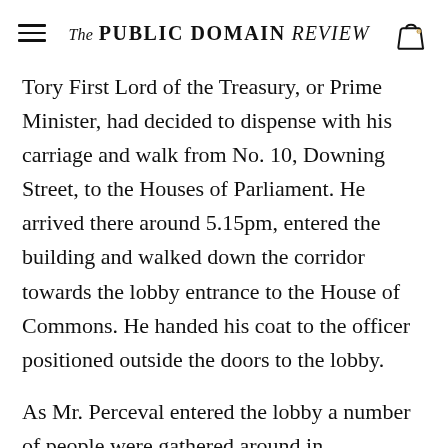The PUBLIC DOMAIN REVIEW
Tory First Lord of the Treasury, or Prime Minister, had decided to dispense with his carriage and walk from No. 10, Downing Street, to the Houses of Parliament. He arrived there around 5.15pm, entered the building and walked down the corridor towards the lobby entrance to the House of Commons. He handed his coat to the officer positioned outside the doors to the lobby.
As Mr. Perceval entered the lobby a number of people were gathered around in conversation as was the usual practice. Most turned to look at him and some greeted him. No one noticed a